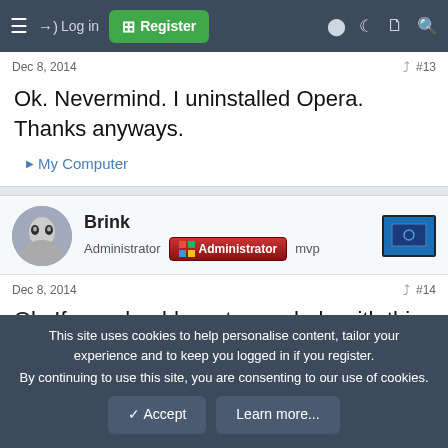≡  →] Log in  [+] Register
Dec 8, 2014   #13
Ok. Nevermind. I uninstalled Opera. Thanks anyways.
▶ My Computer
Brink
Administrator  Administrator  mvp
Dec 8, 2014   #14
Ok. If you should want more help with this, then please just let me know. 🙂
This site uses cookies to help personalise content, tailor your experience and to keep you logged in if you register.
By continuing to use this site, you are consenting to our use of cookies.
✓ Accept   Learn more...